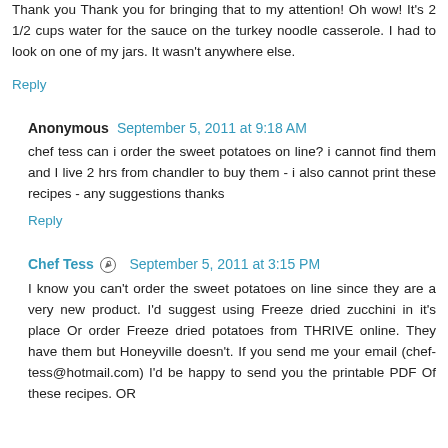Thank you Thank you for bringing that to my attention! Oh wow! It's 2 1/2 cups water for the sauce on the turkey noodle casserole. I had to look on one of my jars. It wasn't anywhere else.
Reply
Anonymous  September 5, 2011 at 9:18 AM
chef tess can i order the sweet potatoes on line? i cannot find them and I live 2 hrs from chandler to buy them - i also cannot print these recipes - any suggestions thanks
Reply
Chef Tess  September 5, 2011 at 3:15 PM
I know you can't order the sweet potatoes on line since they are a very new product. I'd suggest using Freeze dried zucchini in it's place Or order Freeze dried potatoes from THRIVE online. They have them but Honeyville doesn't. If you send me your email (chef-tess@hotmail.com) I'd be happy to send you the printable PDF Of these recipes. OR